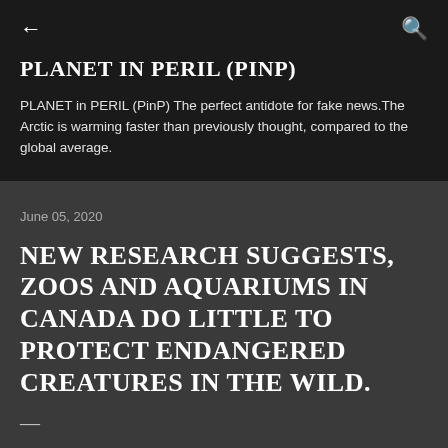← (back) Q (search)
PLANET IN PERIL (PINP)
PLANET in PERIL (PinP) The perfect antidote for fake news.The Arctic is warming faster than previously thought, compared to the global average.
June 05, 2020
NEW RESEARCH SUGGESTS, ZOOS AND AQUARIUMS IN CANADA DO LITTLE TO PROTECT ENDANGERED CREATURES IN THE WILD.
—
by Larry Powell
[Figure (photo): Partial photo strip showing green plants/foliage in what appears to be a zoo or aquarium setting, visible at the bottom of the page.]